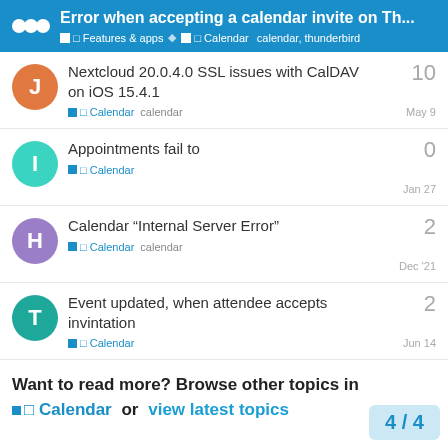Error when accepting a calendar invite on Th... | Features & apps | Calendar | calendar, thunderbird
Nextcloud 20.0.4.0 SSL issues with CalDAV on iOS 15.4.1 — replies: 10 — Category: Calendar, Tag: calendar — Date: May 9
Appointments fail to — replies: 0 — Category: Calendar — Date: Jan 27
Calendar "Internal Server Error" — replies: 2 — Category: Calendar, Tag: calendar — Date: Dec '21
Event updated, when attendee accepts invintation — replies: 2 — Category: Calendar — Date: Jun 14
Want to read more? Browse other topics in Calendar or view latest topics
4 / 4